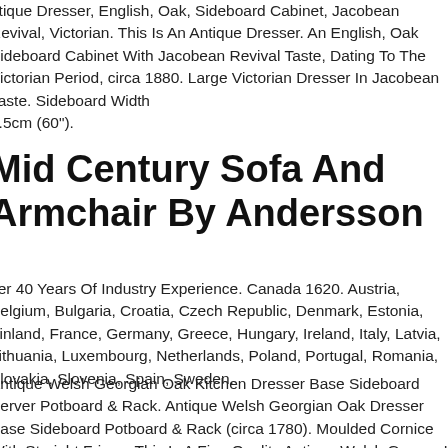ntique Dresser, English, Oak, Sideboard Cabinet, Jacobean Revival, Victorian. This Is An Antique Dresser. An English, Oak Sideboard Cabinet With Jacobean Revival Taste, Dating To The Victorian Period, circa 1880. Large Victorian Dresser In Jacobean Taste. Sideboard Width 2.5cm (60").
Mid Century Sofa And Armchair By Andersson
ver 40 Years Of Industry Experience. Canada 1620. Austria, Belgium, Bulgaria, Croatia, Czech Republic, Denmark, Estonia, Finland, France, Germany, Greece, Hungary, Ireland, Italy, Latvia, Lithuania, Luxembourg, Netherlands, Poland, Portugal, Romania, Slovakia, Slovenia, Spain, Sweden.
Antique Welsh Georgian Oak Kitchen Dresser Base Sideboard Server Potboard & Rack. Antique Welsh Georgian Oak Dresser Base Sideboard Potboard & Rack (circa 1780). Moulded Cornice With Straight Frieze. This Is A Fine Quality Antique Welsh George Iii Oak Pot-board Dresser